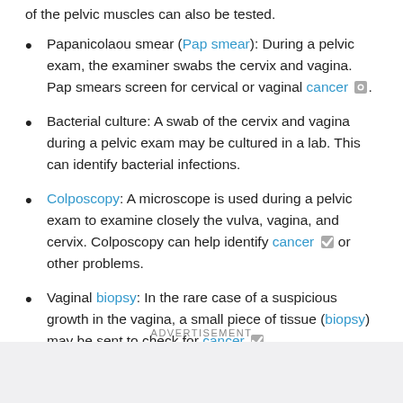of the pelvic muscles can also be tested.
Papanicolaou smear (Pap smear): During a pelvic exam, the examiner swabs the cervix and vagina. Pap smears screen for cervical or vaginal cancer.
Bacterial culture: A swab of the cervix and vagina during a pelvic exam may be cultured in a lab. This can identify bacterial infections.
Colposcopy: A microscope is used during a pelvic exam to examine closely the vulva, vagina, and cervix. Colposcopy can help identify cancer or other problems.
Vaginal biopsy: In the rare case of a suspicious growth in the vagina, a small piece of tissue (biopsy) may be sent to check for cancer
ADVERTISEMENT